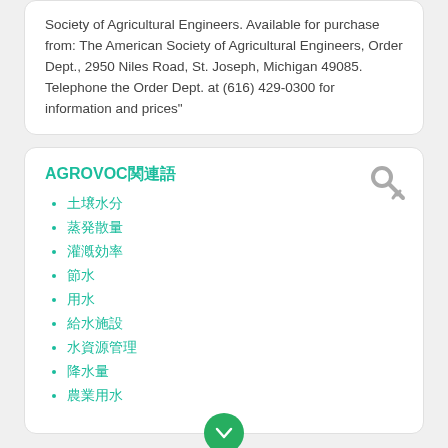Society of Agricultural Engineers. Available for purchase from: The American Society of Agricultural Engineers, Order Dept., 2950 Niles Road, St. Joseph, Michigan 49085. Telephone the Order Dept. at (616) 429-0300 for information and prices"
AGROVOC関連語
土壌水分
蒸発散量
灌漑効率
節水
用水
給水施設
水資源管理
降水量
農業用水